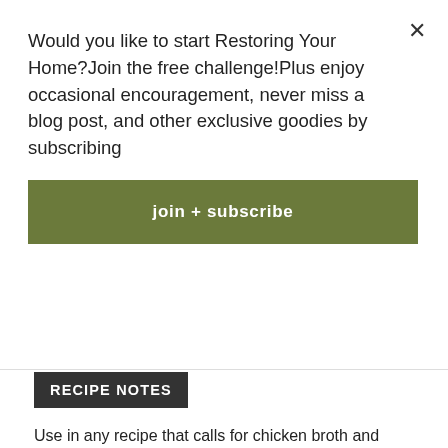Would you like to start Restoring Your Home?Join the free challenge!Plus enjoy occasional encouragement, never miss a blog post, and other exclusive goodies by subscribing
join + subscribe
RECIPE NOTES
Use in any recipe that calls for chicken broth and enjoy the unique flavors this brings! Especially good in my Green Soup Recipe, give it a try if you haven't yet!
https://cultivating-motherhood.com/recipe-archives/healthy-green-soup-recipe/
SHARE THIS RECIPE